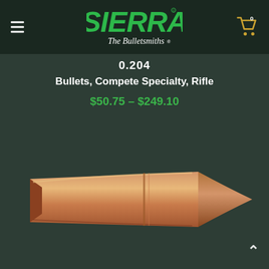[Figure (logo): Sierra Bullets logo with 'The Bulletsmiths' tagline in green and white on dark background]
0.204
Bullets, Compete Specialty, Rifle
$50.75 – $249.10
[Figure (photo): Close-up photograph of a copper/brass boat-tail rifle bullet lying horizontally on a dark green background]